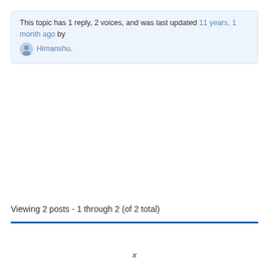This topic has 1 reply, 2 voices, and was last updated 11 years, 1 month ago by Himanshu.
Viewing 2 posts - 1 through 2 (of 2 total)